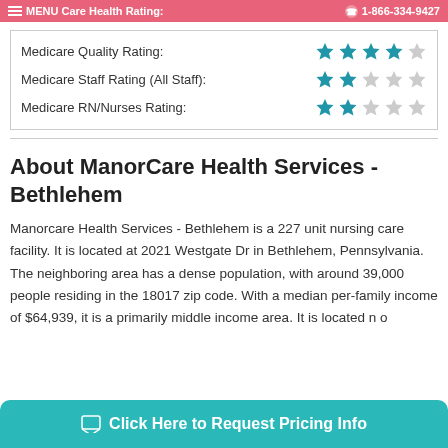MENU Care Health Rating: | 1-866-334-9427
| Rating Type | Stars |
| --- | --- |
| Medicare Quality Rating: | 4/5 stars |
| Medicare Staff Rating (All Staff): | 2/5 stars |
| Medicare RN/Nurses Rating: | 2/5 stars |
About ManorCare Health Services - Bethlehem
Manorcare Health Services - Bethlehem is a 227 unit nursing care facility. It is located at 2021 Westgate Dr in Bethlehem, Pennsylvania. The neighboring area has a dense population, with around 39,000 people residing in the 18017 zip code. With a median per-family income of $64,939, it is a primarily middle income area. It is located n... o...
Click Here to Request Pricing Info